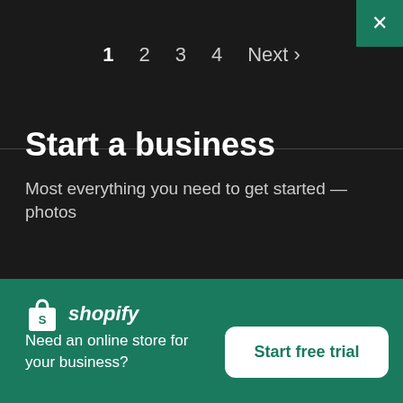1  2  3  4  Next ›
Start a business
Most everything you need to get started — photos
[Figure (logo): Shopify logo — white shopping bag icon with 'shopify' in white italic text]
Need an online store for your business?
Start free trial